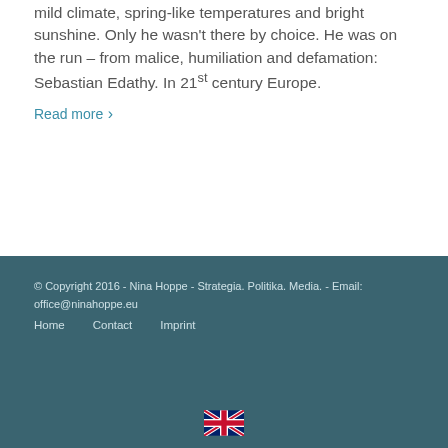mild climate, spring-like temperatures and bright sunshine. Only he wasn't there by choice. He was on the run – from malice, humiliation and defamation: Sebastian Edathy. In 21st century Europe.
Read more ›
© Copyright 2016 - Nina Hoppe - Strategia. Politika. Media. - Email: office@ninahoppe.eu
Home   Contact   Imprint